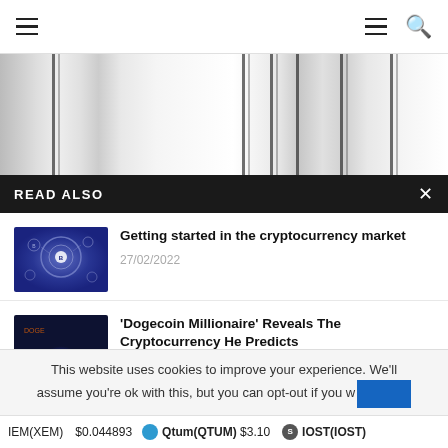Navigation bar with hamburger menu and search icon
[Figure (screenshot): Blurred vertical column background behind content]
READ ALSO
Getting started in the cryptocurrency market
27/02/2022
'Dogecoin Millionaire' Reveals The Cryptocurrency He Predicts
This website uses cookies to improve your experience. We'll assume you're ok with this, but you can opt-out if you w
IEM(XEM) $0.044893   Qtum(QTUM) $3.10   IOST(IOST)